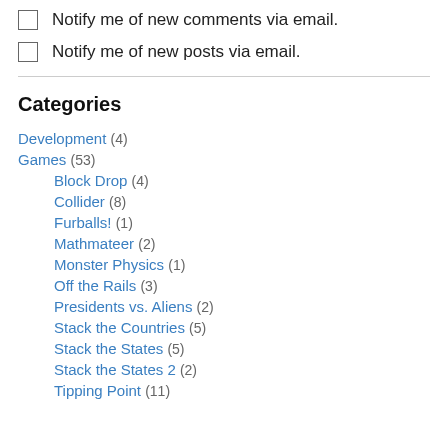Notify me of new comments via email.
Notify me of new posts via email.
Categories
Development (4)
Games (53)
Block Drop (4)
Collider (8)
Furballs! (1)
Mathmateer (2)
Monster Physics (1)
Off the Rails (3)
Presidents vs. Aliens (2)
Stack the Countries (5)
Stack the States (5)
Stack the States 2 (2)
Tipping Point (11)